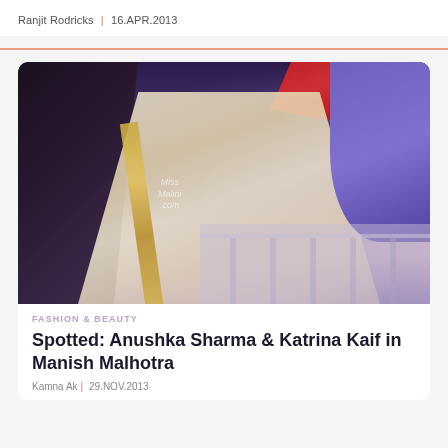Ranjit Rodricks | 16.APR.2013
[Figure (photo): A woman in a cream and gold embellished saree with a red blouse, seated on a dark leather sofa with a purple background. A glass table is visible in the lower right. MissMalini.com watermark visible.]
FASHION & BEAUTY
Spotted: Anushka Sharma & Katrina Kaif in Manish Malhotra
Kamna Aker | 29.NOV.2013